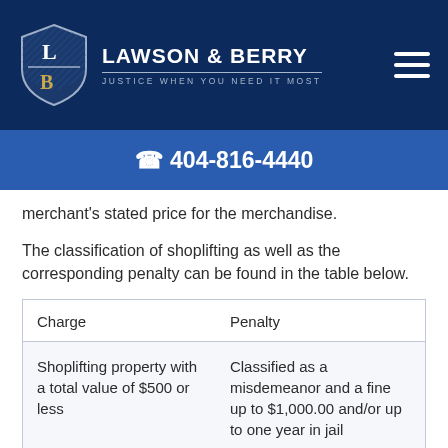LAWSON & BERRY · JUSTICE WHEN YOU NEED IT MOST
☎ 404-816-4440
merchant's stated price for the merchandise.
The classification of shoplifting as well as the corresponding penalty can be found in the table below.
| Charge | Penalty |
| --- | --- |
| Shoplifting property with a total value of $500 or less | Classified as a misdemeanor and a fine up to $1,000.00 and/or up to one year in jail |
| A 2nd conviction for Shoplifting property with a total value of $500 or less | Classified as a misdemeanor with... |